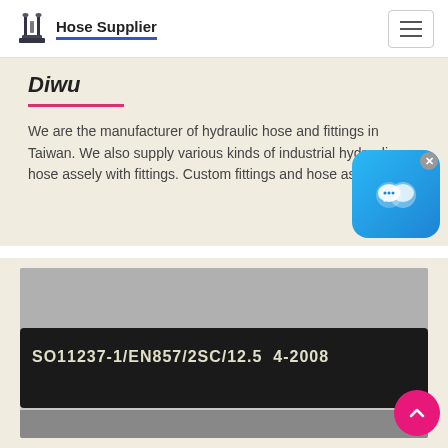Hose Supplier
Diwu
We are the manufacturer of hydraulic hose and fittings in Taiwan. We also supply various kinds of industrial hydraulic hose assely with fittings. Custom fittings and hose as
[Figure (photo): Close-up photo of a black hydraulic hose with white text printed on it reading: SO11237-1/EN857/2SC/12.5 4-2008]